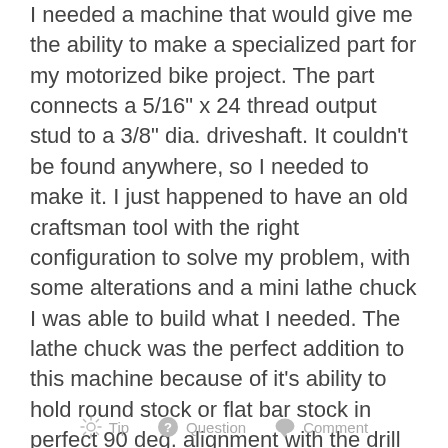I needed a machine that would give me the ability to make a specialized part for my motorized bike project. The part connects a 5/16" x 24 thread output stud to a 3/8" dia. driveshaft. It couldn't be found anywhere, so I needed to make it. I just happened to have an old craftsman tool with the right configuration to solve my problem, with some alterations and a mini lathe chuck I was able to build what I needed. The lathe chuck was the perfect addition to this machine because of it's ability to hold round stock or flat bar stock in perfect 90 deg. alignment with the drill chuck. This machine can now be used for boring, tapping inside threads and with threading dies for male threads. It can be powered by any drill for boring operations or operated manually for tapping and threading.
Tip   Question   Comment